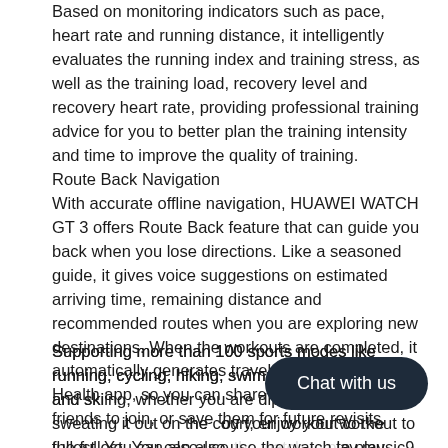Based on monitoring indicators such as pace, heart rate and running distance, it intelligently evaluates the running index and training stress, as well as the training load, recovery level and recovery heart rate, providing professional training advice for you to better plan the training intensity and time to improve the quality of training.
Route Back Navigation
With accurate offline navigation, HUAWEI WATCH GT 3 offers Route Back feature that can guide you back when you lose directions. Like a seasoned guide, it gives voice suggestions on estimated arriving time, remaining distance and recommended routes when you are exploring new destinations. When the workouts are completed, it automatically generates travel routes on Huawei Health app, so you can share and invite your friends to join, or save them for future revisits.
Supporting more than 100 sports modes like running, cycling, hiking, swimming8, jumping rope and skiing, whether you are dipping in the pool or sweating it out on the court, enjoy your workout to the fullest. You can also use the watch to play music9, so that you can match your running time with an